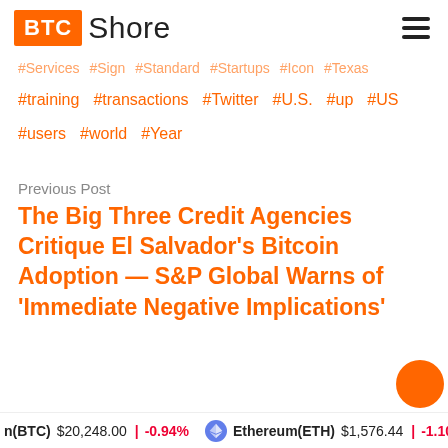BTC Shore
#Services #Sign #Standard #Startups #Icon #Texas
#training #transactions #Twitter #U.S. #up #US
#users #world #Year
Previous Post
The Big Three Credit Agencies Critique El Salvador's Bitcoin Adoption — S&P Global Warns of 'Immediate Negative Implications'
n(BTC) $20,248.00 -0.94% Ethereum(ETH) $1,576.44 -1.10%